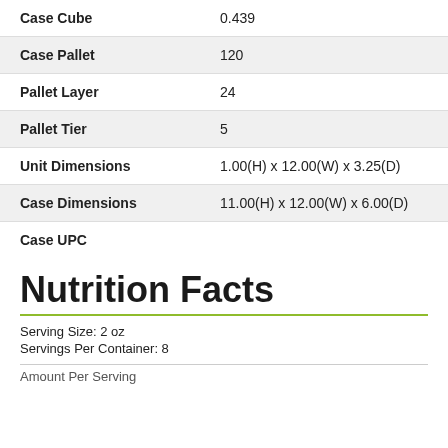| Property | Value |
| --- | --- |
| Case Cube | 0.439 |
| Case Pallet | 120 |
| Pallet Layer | 24 |
| Pallet Tier | 5 |
| Unit Dimensions | 1.00(H) x 12.00(W) x 3.25(D) |
| Case Dimensions | 11.00(H) x 12.00(W) x 6.00(D) |
| Case UPC |  |
Nutrition Facts
Serving Size: 2 oz
Servings Per Container: 8